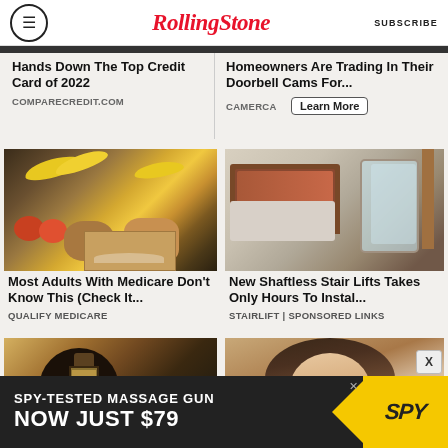RollingStone | SUBSCRIBE
Hands Down The Top Credit Card of 2022
COMPARECREDIT.COM
Homeowners Are Trading In Their Doorbell Cams For...
CAMERCA
Learn More
[Figure (photo): Grocery store produce section with bananas and various fruits]
Most Adults With Medicare Don't Know This (Check It...
QUALIFY MEDICARE
[Figure (photo): Bedroom with a glass stair lift unit installed]
New Shaftless Stair Lifts Takes Only Hours To Instal...
STAIRLIFT | SPONSORED LINKS
[Figure (photo): Outdoor wall lamp on stucco exterior]
[Figure (photo): Woman with brown hair smiling]
SPY-TESTED MASSAGE GUN
NOW JUST $79